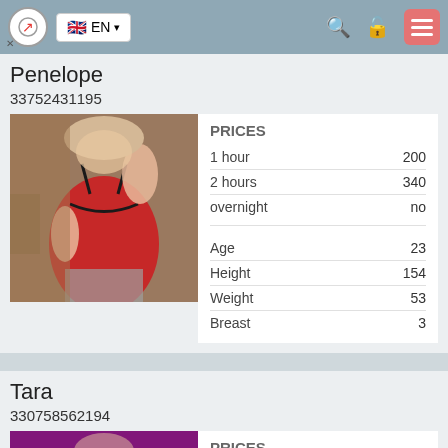EN
Penelope
33752431195
[Figure (photo): Person wearing red lingerie, selfie photo]
|  |  |
| --- | --- |
| PRICES |  |
| 1 hour | 200 |
| 2 hours | 340 |
| overnight | no |
| Age | 23 |
| Height | 154 |
| Weight | 53 |
| Breast | 3 |
Tara
330758562194
[Figure (photo): Partial photo visible at bottom of page]
PRICES